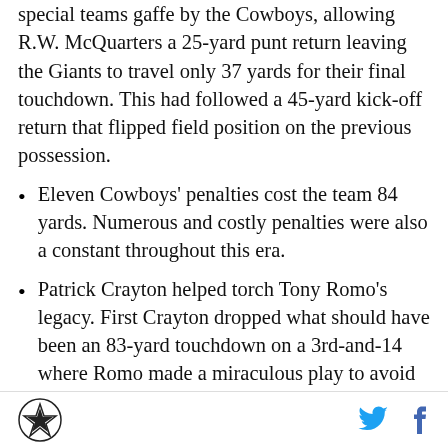special teams gaffe by the Cowboys, allowing R.W. McQuarters a 25-yard punt return leaving the Giants to travel only 37 yards for their final touchdown. This had followed a 45-yard kick-off return that flipped field position on the previous possession.
Eleven Cowboys' penalties cost the team 84 yards. Numerous and costly penalties were also a constant throughout this era.
Patrick Crayton helped torch Tony Romo's legacy. First Crayton dropped what should have been an 83-yard touchdown on a 3rd-and-14 where Romo made a miraculous play to avoid being sacked. Then, on the penultimate play of the game Crayton
Cowboys logo, Twitter icon, Facebook icon